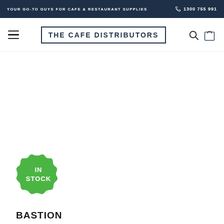YOUR GO-TO GUYS FOR CAFE & RESTAURANT SUPPLIES   1300 755 991
[Figure (logo): THE CAFE DISTRIBUTORS logo with border, hamburger menu icon, search icon, and shopping bag icon in navigation bar]
[Figure (illustration): Green circular badge with scalloped edge reading IN STOCK in white text]
BASTION